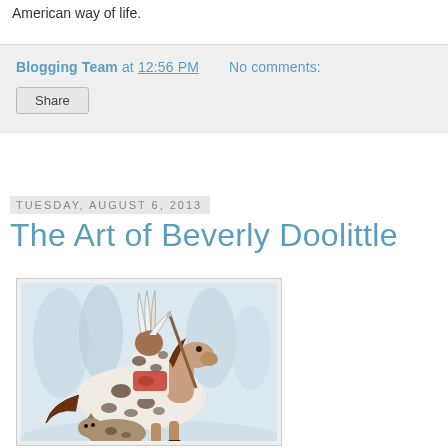American way of life.
Blogging Team at 12:56 PM   No comments:
Share
Tuesday, August 6, 2013
The Art of Beverly Doolittle
[Figure (illustration): Painting by Beverly Doolittle showing a Native American warrior on an Appaloosa horse with spotted coat, both rider and horse appear camouflaged with painted patterns, snowy winter forest background, a wolf or dog visible in lower portion.]